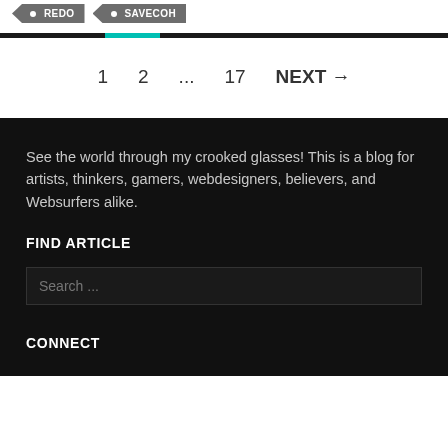REDO
SAVECOH
1  2  ...  17  NEXT →
See the world through my crooked glasses! This is a blog for artists, thinkers, gamers, webdesigners, believers, and Websurfers alike.
FIND ARTICLE
Search ...
CONNECT